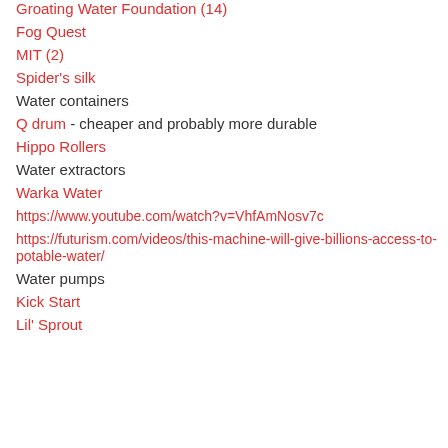Groating Water Foundation (14)
Fog Quest
MIT (2)
Spider's silk
Water containers
Q drum - cheaper and probably more durable
Hippo Rollers
Water extractors
Warka Water
https://www.youtube.com/watch?v=VhfAmNosv7c
https://futurism.com/videos/this-machine-will-give-billions-access-to-potable-water/
Water pumps
Kick Start
Lil' Sprout